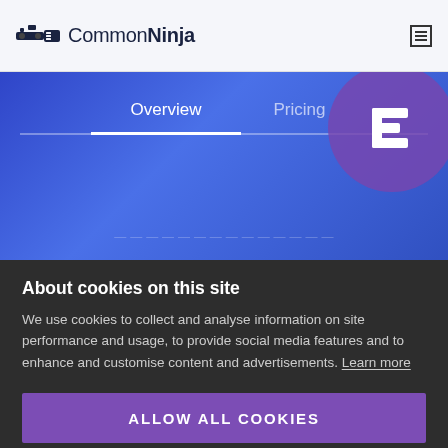Common Ninja
[Figure (screenshot): CommonNinja website header with logo on left and hamburger menu icon on right, on a light gray background]
[Figure (screenshot): Blue gradient banner with Overview and Pricing navigation tabs, and a purple Elementor logo circle on the right side]
About cookies on this site
We use cookies to collect and analyse information on site performance and usage, to provide social media features and to enhance and customise content and advertisements. Learn more
Do not sell my personal information
ALLOW ALL COOKIES